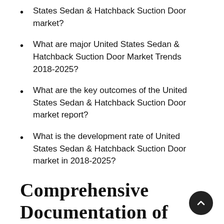States Sedan & Hatchback Suction Door market?
What are major United States Sedan & Hatchback Suction Door Market Trends 2018-2025?
What are the key outcomes of the United States Sedan & Hatchback Suction Door market report?
What is the development rate of United States Sedan & Hatchback Suction Door market in 2018-2025?
Comprehensive Documentation of United States Light